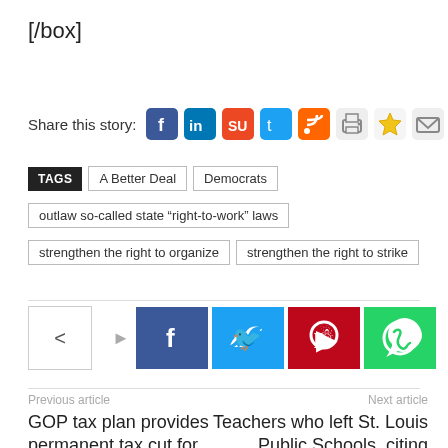[/box]
Share this story:
TAGS  A Better Deal  Democrats  outlaw so-called state “right-to-work” laws  strengthen the right to organize  strengthen the right to strike
[Figure (other): Social share buttons: Facebook, Twitter, Pinterest, WhatsApp]
Previous article
GOP tax plan provides permanent tax cut for corporations, slashes
Next article
Teachers who left St. Louis Public Schools, citing classroom violence and lack